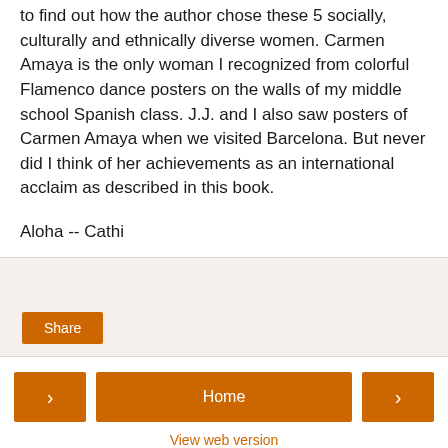to find out how the author chose these 5 socially, culturally and ethnically diverse women. Carmen Amaya is the only woman I recognized from colorful Flamenco dance posters on the walls of my middle school Spanish class. J.J. and I also saw posters of Carmen Amaya when we visited Barcelona. But never did I think of her achievements as an international acclaim as described in this book.
Aloha -- Cathi
[Figure (other): Share comment box area with Share button]
< Home > View web version